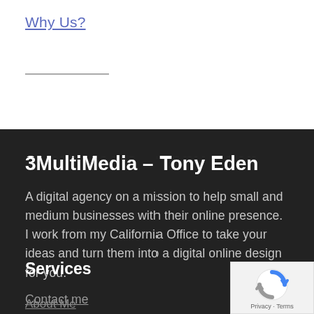Why Us?
3MultiMedia – Tony Eden
A digital agency on a mission to help small and medium businesses with their online presence. I work from my California Office to take your ideas and turn them into a digital online design for you.
Contact me
Services
About Me
[Figure (logo): reCAPTCHA logo badge with Privacy and Terms text]